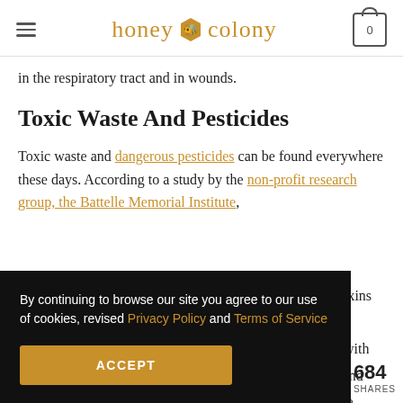honey colony
in the respiratory tract and in wounds.
Toxic Waste And Pesticides
Toxic waste and dangerous pesticides can be found everywhere these days. According to a study by the non-profit research group, the Battelle Memorial Institute,
track toxins versity sealed with oxins, and could be
By continuing to browse our site you agree to our use of cookies, revised Privacy Policy and Terms of Service
684 SHARES